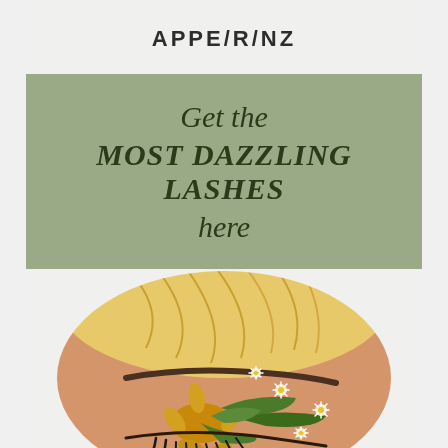APPE/R/NZ
Get the MOST DAZZLING LASHES here
[Figure (photo): Close-up photo of a woman's eye with elaborate floral eye makeup art featuring sunflower and daisy designs with long dramatic lashes, shown in an oval crop with blonde hair visible]